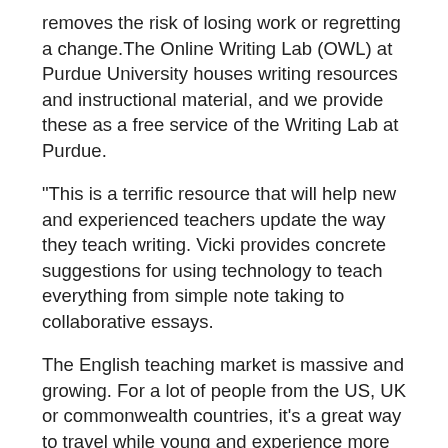removes the risk of losing work or regretting a change.The Online Writing Lab (OWL) at Purdue University houses writing resources and instructional material, and we provide these as a free service of the Writing Lab at Purdue.
"This is a terrific resource that will help new and experienced teachers update the way they teach writing. Vicki provides concrete suggestions for using technology to teach everything from simple note taking to collaborative essays.
The English teaching market is massive and growing. For a lot of people from the US, UK or commonwealth countries, it's a great way to travel while young and experience more of the world.
Teaching Writing is an ongoing process, which Time4Learning facilitates in a number of ways. Most people agree that writing skills are increasingly important and often not adequately taught.